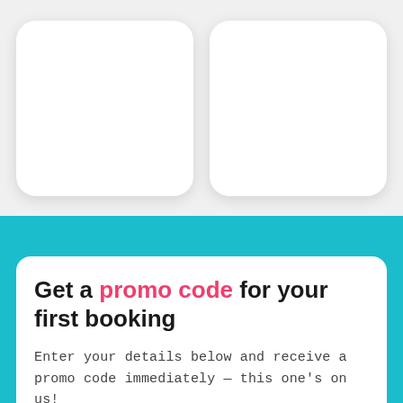[Figure (illustration): Two white rounded-corner cards side by side on a light gray background]
Get a promo code for your first booking
Enter your details below and receive a promo code immediately — this one's on us!